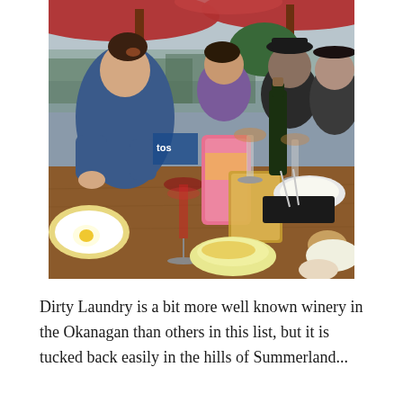[Figure (photo): People dining outdoors at a winery patio under red umbrellas. A woman in a blue shirt sits in the foreground with a glass of red wine, chips and snacks on a wooden table. Other diners and wine bottles visible in background with hazy mountain/forest view.]
Dirty Laundry is a bit more well known winery in the Okanagan than others in this list, but it is tucked back easily in the hills of Summerland...